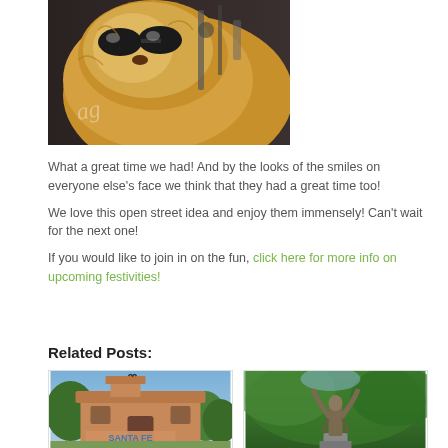[Figure (photo): A fluffy animal (possibly a squirrel or similar creature) wearing sunglasses, photographed close-up with machinery in the background. A cursive watermark is visible.]
What a great time we had! And by the looks of the smiles on everyone else's face we think that they had a great time too!
We love this open street idea and enjoy them immensely! Can't wait for the next one!
If you would like to join in on the fun, click here for more info on upcoming festivities!
Related Posts:
[Figure (photo): A Santa Fe train station building with adobe-style architecture and a sign reading SANTA FE.]
[Figure (photo): A bronze statue of a person with arms raised upward, set against a background of green trees.]